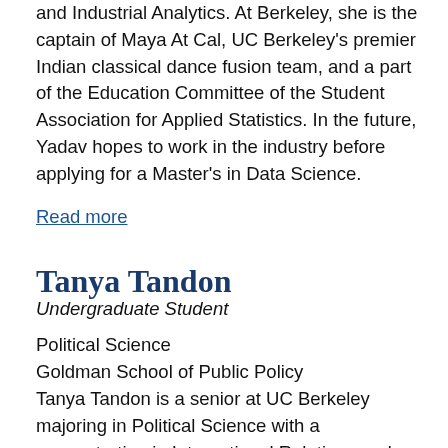and Industrial Analytics. At Berkeley, she is the captain of Maya At Cal, UC Berkeley's premier Indian classical dance fusion team, and a part of the Education Committee of the Student Association for Applied Statistics. In the future, Yadav hopes to work in the industry before applying for a Master's in Data Science.
Read more
Tanya Tandon
Undergraduate Student
Political Science
Goldman School of Public Policy
Tanya Tandon is a senior at UC Berkeley majoring in Political Science with a concentration in International Relations and double minoring in Public Policy and Human Rights. On campus, Tanya served as the President of the Association for Socially Responsible Business. Before coming to UC Berkeley, Tandon worked in the nonprofit sector at RESULTS in advocacy and legislative work. Her previous